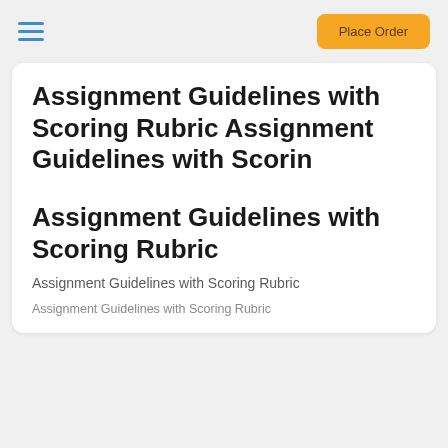Place Order
Assignment Guidelines with Scoring Rubric Assignment Guidelines with Scorin
Assignment Guidelines with Scoring Rubric
Assignment Guidelines with Scoring Rubric
Assignment Guidelines with Scoring Rubric